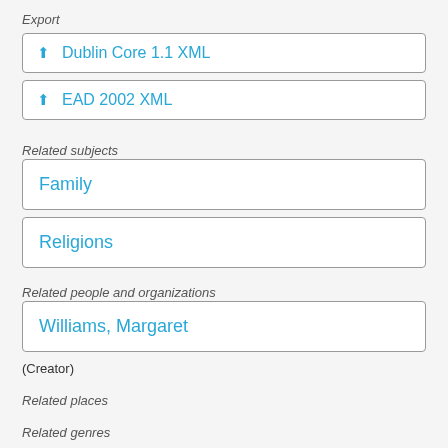Export
Dublin Core 1.1 XML
EAD 2002 XML
Related subjects
Family
Religions
Related people and organizations
Williams, Margaret
(Creator)
Related places
Related genres